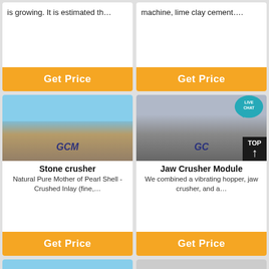is growing. It is estimated th…
machine, lime clay cement….
[Figure (photo): Industrial stone crusher with silo structures and GCM machinery logo]
Stone crusher
Natural Pure Mother of Pearl Shell -Crushed Inlay (fine,…
[Figure (photo): Jaw Crusher Module machinery with workers and GCM logo, with TOP navigation button overlay]
Jaw Crusher Module
We combined a vibrating hopper, jaw crusher, and a…
[Figure (photo): Partial view of crusher machinery at bottom left]
[Figure (photo): Partial view of crusher machinery at bottom right]